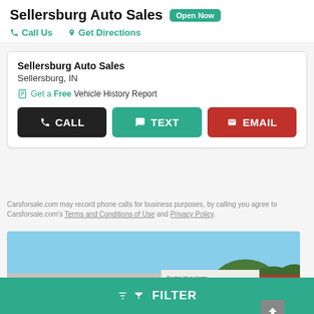Sellersburg Auto Sales  Open Now
Call Us   Get Directions
Sellersburg Auto Sales
Sellersburg, IN
Get a Free Vehicle History Report
CALL   TEXT   EMAIL
Carsforsale.com may record phone calls for business purposes, by calling you agree to Carsforsale.com's Terms and Conditions of Use and Privacy Policy.
[Figure (photo): Exterior photo of Sellersburg Auto Sales dealership with a white sedan parked in front, dealership signage visible, blue sky and trees in background.]
FILTER